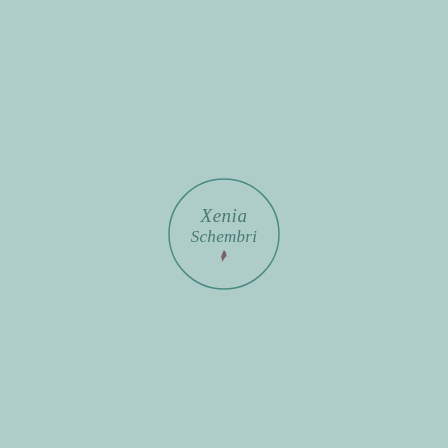[Figure (logo): Circular logo with script text 'Xenia Schembri' and a small feather/leaf illustration below the text, rendered in dark teal on a light teal/sage green background]